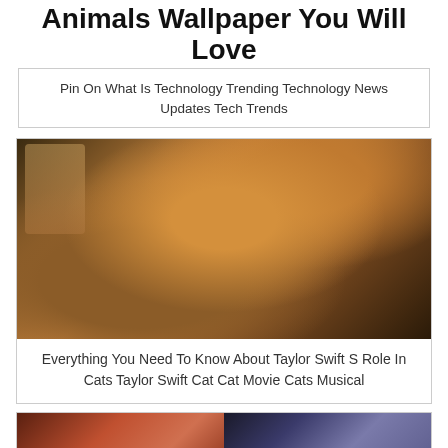Animals Wallpaper You Will Love
Pin On What Is Technology Trending Technology News Updates Tech Trends
[Figure (photo): Close-up photo of a cat-human hybrid character from the Cats movie, showing orange/ginger fur, human-like eyes, and a jeweled collar, against a dark glittery background.]
Everything You Need To Know About Taylor Swift S Role In Cats Taylor Swift Cat Cat Movie Cats Musical
[Figure (photo): Two photos side by side at the bottom: left shows a reddish-brown cat character, right shows a character with light purple/lavender ruffled costume.]